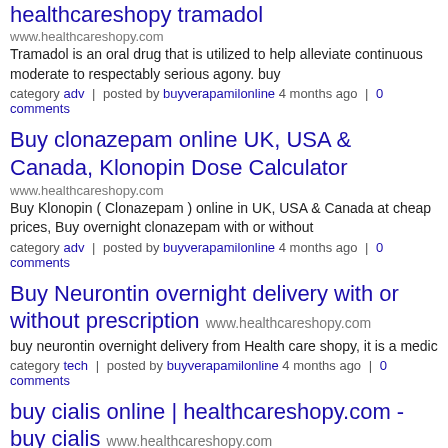healthcareshopy tramadol (partial, clipped)
www.healthcareshopy.com
Tramadol is an oral drug that is utilized to help alleviate continuous moderate to respectably serious agony. buy
category adv | posted by buyverapamilonline 4 months ago | 0 comments
Buy clonazepam online UK, USA & Canada, Klonopin Dose Calculator
www.healthcareshopy.com
Buy Klonopin ( Clonazepam ) online in UK, USA & Canada at cheap prices, Buy overnight clonazepam with or without
category adv | posted by buyverapamilonline 4 months ago | 0 comments
Buy Neurontin overnight delivery with or without prescription
www.healthcareshopy.com
buy neurontin overnight delivery from Health care shopy, it is a medic
category tech | posted by buyverapamilonline 4 months ago | 0 comments
buy cialis online | healthcareshopy.com - buy cialis
www.healthcareshopy.com